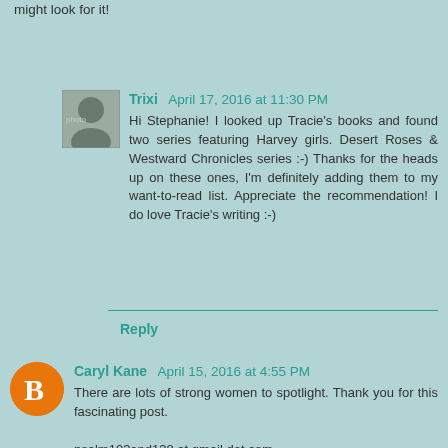might look for it!
Trixi   April 17, 2016 at 11:30 PM
Hi Stephanie! I looked up Tracie's books and found two series featuring Harvey girls. Desert Roses & Westward Chronicles series :-) Thanks for the heads up on these ones, I'm definitely adding them to my want-to-read list. Appreciate the recommendation! I do love Tracie's writing :-)
Reply
Caryl Kane   April 15, 2016 at 4:55 PM
There are lots of strong women to spotlight. Thank you for this fascinating post.

psalm103and138 at gmail dot com
Reply